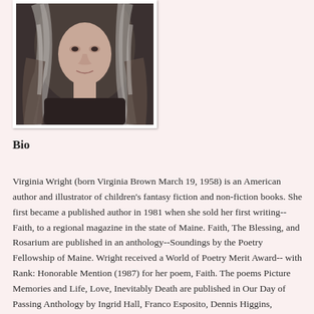[Figure (photo): Portrait photo of Virginia Wright, a woman with long gray and dark hair, cropped to show face and shoulders, framed with white border.]
Bio
Virginia Wright (born Virginia Brown March 19, 1958) is an American author and illustrator of children's fantasy fiction and non-fiction books. She first became a published author in 1981 when she sold her first writing--Faith, to a regional magazine in the state of Maine. Faith, The Blessing, and Rosarium are published in an anthology--Soundings by the Poetry Fellowship of Maine. Wright received a World of Poetry Merit Award-- with Rank: Honorable Mention (1987) for her poem, Faith. The poems Picture Memories and Life, Love, Inevitably Death are published in Our Day of Passing Anthology by Ingrid Hall, Franco Esposito, Dennis Higgins, Virginia Wright and a collaboration of 30+ other talented co-authors around the globe. Besides poetry Wright has written six books, her first a children's book, "The Princess and the Castle, A Fairy Tale" (2010) and this was followed by three other fairy tales,